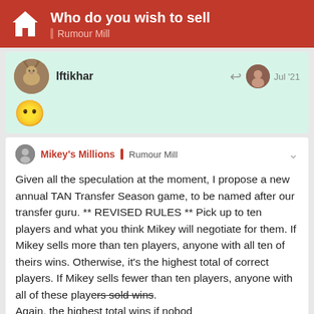Who do you wish to sell | Rumour Mill
Iftikhar  Jul '21  😶  (emoji face)
Given all the speculation at the moment, I propose a new annual TAN Transfer Season game, to be named after our transfer guru. ** REVISED RULES ** Pick up to ten players and what you think Mikey will negotiate for them. If Mikey sells more than ten players, anyone with all ten of theirs wins. Otherwise, it's the highest total of correct players. If Mikey sells fewer than ten players, anyone with all of these players sold wins. Again, the highest total wins if nobod[y has all of those] sold. For e[xample...]
167 / 322